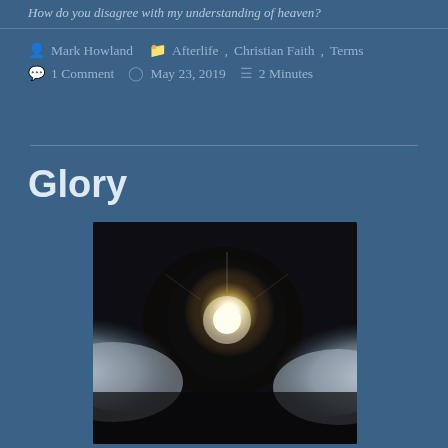How do you disagree with my understanding of heaven?
Mark Howland   Afterlife, Christian Faith, Terms   1 Comment   May 23, 2019   2 Minutes
Glory
[Figure (photo): A dramatic photograph of bright light breaking through dark clouds, creating a glowing halo effect against a dark background with white cloud formations on both sides.]